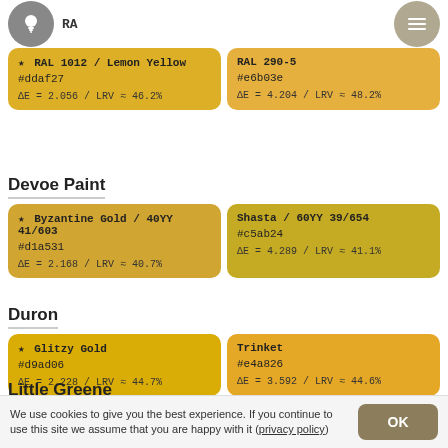RAL
| Color 1 | Color 2 |
| --- | --- |
| ★ RAL 1012 / Lemon Yellow
#ddaf27
ΔE = 2.056 / LRV ≈ 46.2% | RAL 290-5
#e6b03e
ΔE = 4.204 / LRV ≈ 48.2% |
Devoe Paint
| Color 1 | Color 2 |
| --- | --- |
| ★ Byzantine Gold / 40YY 41/603
#d1a531
ΔE = 2.168 / LRV ≈ 40.7% | Shasta / 60YY 39/654
#c5ab24
ΔE = 4.289 / LRV ≈ 41.1% |
Duron
| Color 1 | Color 2 |
| --- | --- |
| ★ Glitzy Gold
#d9ad06
ΔE = 2.228 / LRV ≈ 44.7% | Trinket
#e4a826
ΔE = 3.592 / LRV ≈ 44.6% |
Little Greene
| Color 1 | Color 2 |
| --- | --- |
| ★ Mister David | Yellow-Pink |
We use cookies to give you the best experience. If you continue to use this site we assume that you are happy with it (privacy policy)